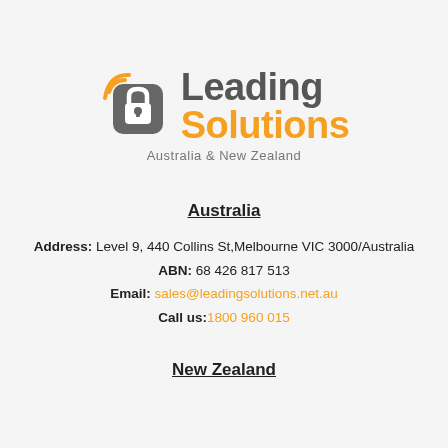[Figure (logo): Leading Solutions Australia & New Zealand logo with padlock icon and wifi signal arcs in orange, company name in gray and orange, tagline 'Australia & New Zealand' in gray]
Australia
Address: Level 9, 440 Collins St,Melbourne VIC 3000/Australia
ABN: 68 426 817 513
Email: sales@leadingsolutions.net.au
Call us:1800 960 015
New Zealand